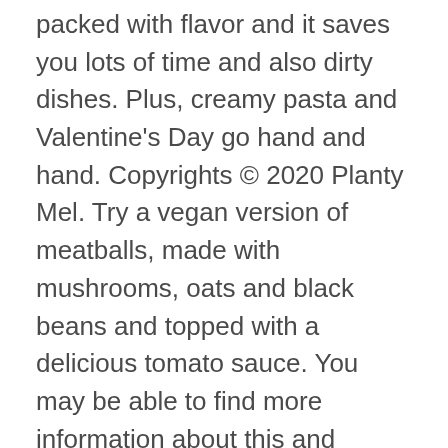packed with flavor and it saves you lots of time and also dirty dishes. Plus, creamy pasta and Valentine's Day go hand and hand. Copyrights © 2020 Planty Mel. Try a vegan version of meatballs, made with mushrooms, oats and black beans and topped with a delicious tomato sauce. You may be able to find more information about this and similar content on their web site. Fresh chopped parsley, garlic, and a touch of freshly cracked black pepper give it an Italian-inspired flavor that's perfect for fettuccine or linguine pasta. Today I'm sharing my recipe for Vegan Linguine with Clam Sauce. https://www.tasteofhome.com/recipes/colorful-vegetarian-linguine Asian grocery stores are the best place to look. Toss until well combined. The pressure to have an amazing Valentine's day can be quite a lot. I like to share